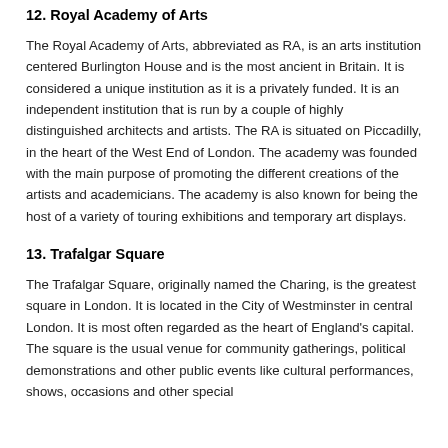12. Royal Academy of Arts
The Royal Academy of Arts, abbreviated as RA, is an arts institution centered Burlington House and is the most ancient in Britain. It is considered a unique institution as it is a privately funded. It is an independent institution that is run by a couple of highly distinguished architects and artists. The RA is situated on Piccadilly, in the heart of the West End of London. The academy was founded with the main purpose of promoting the different creations of the artists and academicians. The academy is also known for being the host of a variety of touring exhibitions and temporary art displays.
13. Trafalgar Square
The Trafalgar Square, originally named the Charing, is the greatest square in London. It is located in the City of Westminster in central London. It is most often regarded as the heart of England's capital. The square is the usual venue for community gatherings, political demonstrations and other public events like cultural performances, shows, occasions and other special